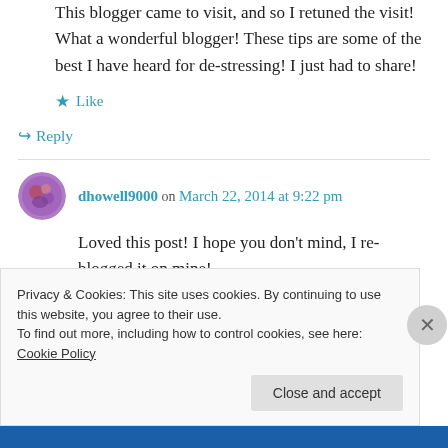This blogger came to visit, and so I retuned the visit! What a wonderful blogger! These tips are some of the best I have heard for de-stressing! I just had to share!
★ Like
↪ Reply
dhowell9000 on March 22, 2014 at 9:22 pm
Loved this post! I hope you don't mind, I re-blogged it on mine!
Privacy & Cookies: This site uses cookies. By continuing to use this website, you agree to their use.
To find out more, including how to control cookies, see here: Cookie Policy
Close and accept